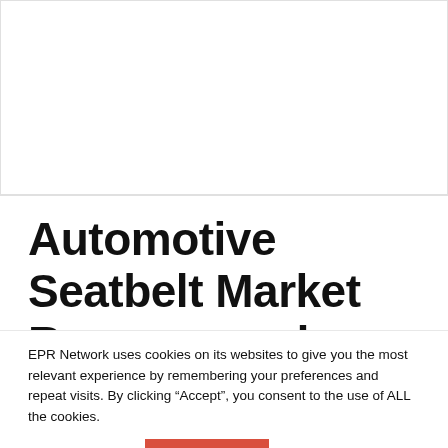[Figure (other): White rectangular area at top of page, appears to be a placeholder for a chart or image]
Automotive Seatbelt Market Revenue and
EPR Network uses cookies on its websites to give you the most relevant experience by remembering your preferences and repeat visits. By clicking “Accept”, you consent to the use of ALL the cookies.
Cookie settings  ACCEPT